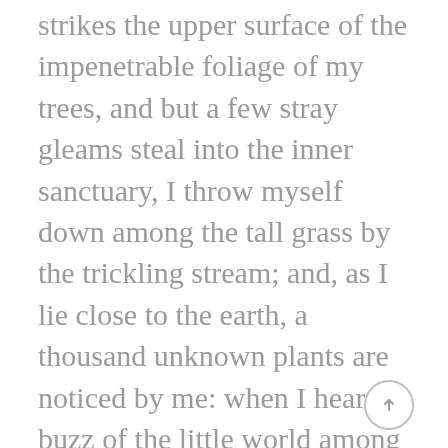strikes the upper surface of the impenetrable foliage of my trees, and but a few stray gleams steal into the inner sanctuary, I throw myself down among the tall grass by the trickling stream; and, as I lie close to the earth, a thousand unknown plants are noticed by me: when I hear the buzz of the little world among the stalks, and grow familiar with the countless indescribable forms of the insects and flies, then I feel the presence of the Almighty, who formed us in his own image, and the breath of that universal love which bears and sustains us, as it floats around us in an eternity of bliss; and then, my friend, when darkness overspreads my